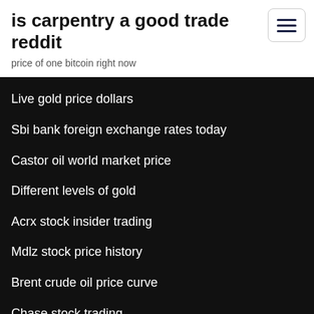is carpentry a good trade reddit
price of one bitcoin right now
Live gold price dollars
Sbi bank foreign exchange rates today
Castor oil world market price
Different levels of gold
Acrx stock insider trading
Mdlz stock price history
Brent crude oil price curve
Chase stock trading
Stocks forex finance markets portfolio & news
How to trade forex for a living